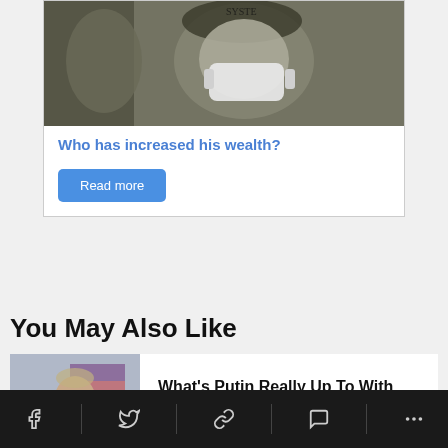[Figure (photo): A US dollar bill with a surgical mask overlaid on the engraved portrait, suggesting COVID-19 financial themes]
Who has increased his wealth?
Read more
You May Also Like
[Figure (photo): Vladimir Putin seated at a table, gesturing, in a formal setting with a Russian flag in the background]
What's Putin Really Up To With Ukraine?
Social share bar with Facebook, Twitter, link, comment, and more icons